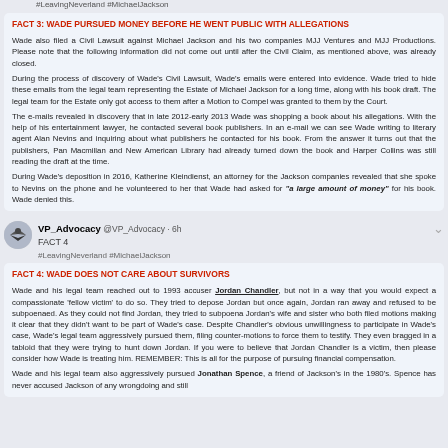#LeavingNeverland #MichaelJackson
FACT 3: WADE PURSUED MONEY BEFORE HE WENT PUBLIC WITH ALLEGATIONS
Wade also filed a Civil Lawsuit against Michael Jackson and his two companies MJJ Ventures and MJJ Productions. Please note that the following information did not come out until after the Civil Claim, as mentioned above, was already closed.

During the process of discovery of Wade's Civil Lawsuit, Wade's emails were entered into evidence. Wade tried to hide these emails from the legal team representing the Estate of Michael Jackson for a long time, along with his book draft. The legal team for the Estate only got access to them after a Motion to Compel was granted to them by the Court.

The e-mails revealed in discovery that in late 2012-early 2013 Wade was shopping a book about his allegations. With the help of his entertainment lawyer, he contacted several book publishers. In an e-mail we can see Wade writing to literary agent Alan Nevins and inquiring about what publishers he contacted for his book. From the answer it turns out that the publishers, Pan Macmillan and New American Library had already turned down the book and Harper Collins was still reading the draft at the time.

During Wade's deposition in 2016, Katherine Kleindienst, an attorney for the Jackson companies revealed that she spoke to Nevins on the phone and he volunteered to her that Wade had asked for "a large amount of money" for his book. Wade denied this.
VP_Advocacy @VP_Advocacy · 6h
FACT 4
#LeavingNeverland #MichaelJackson
FACT 4: WADE DOES NOT CARE ABOUT SURVIVORS
Wade and his legal team reached out to 1993 accuser Jordan Chandler, but not in a way that you would expect a compassionate 'fellow victim' to do so. They tried to depose Jordan but once again, Jordan ran away and refused to be subpoenaed. As they could not find Jordan, they tried to subpoena Jordan's wife and sister who both filed motions making it clear that they didn't want to be part of Wade's case. Despite Chandler's obvious unwillingness to participate in Wade's case, Wade's legal team aggressively pursued them, filing counter-motions to force them to testify. They even bragged in a tabloid that they were trying to hunt down Jordan. If you were to believe that Jordan Chandler is a victim, then please consider how Wade is treating him. REMEMBER: This is all for the purpose of pursuing financial compensation.

Wade and his legal team also aggressively pursued Jonathan Spence, a friend of Jackson's in the 1980's. Spence has never accused Jackson of any wrongdoing and still